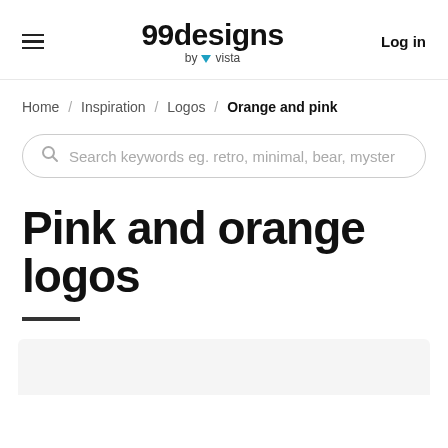99designs by vista | Log in
Home / Inspiration / Logos / Orange and pink
Search keywords eg. retro, minimal, bear, myster
Pink and orange logos